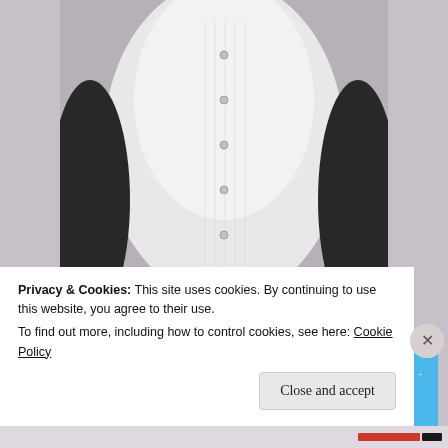[Figure (photo): Black and white photograph showing torso of a person wearing a white buttoned blouse/shirt, cropped view]
Oly Girl.
[Figure (screenshot): Advertisement banner for Day One journaling app on blue background with text 'The only journaling app you'll ever need.' and 'Get the app' button]
Privacy & Cookies: This site uses cookies. By continuing to use this website, you agree to their use.
To find out more, including how to control cookies, see here: Cookie Policy
Close and accept